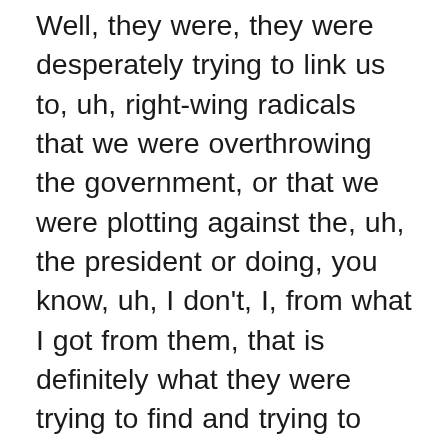Well, they were, they were desperately trying to link us to, uh, right-wing radicals that we were overthrowing the government, or that we were plotting against the, uh, the president or doing, you know, uh, I don't, I, from what I got from them, that is definitely what they were trying to find and trying to find links. Olivia had picked up a paper of one of the Three Percenters, where they were, when we were at the Capitol, they were sending out flyers, trying to get recruits and things for the Three Percenters. And then, you know, like the group of Oath Keepers, I said, what if we had been Oath Keepers, we believed in the constitution. That would have been horrible. We could have really done a lot of damage to the country if we would go against the